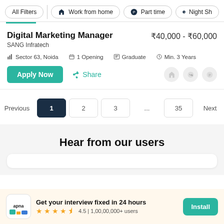All Filters | Work from home | Part time | Night Sh
Digital Marketing Manager
SANG Infratech
₹40,000 - ₹60,000
Sector 63, Noida  |  1 Opening  |  Graduate  |  Min. 3 Years
Apply Now   Share
Previous  1  2  3  ...  35  Next
Hear from our users
Get your interview fixed in 24 hours
4.5 | 1,00,00,000+ users